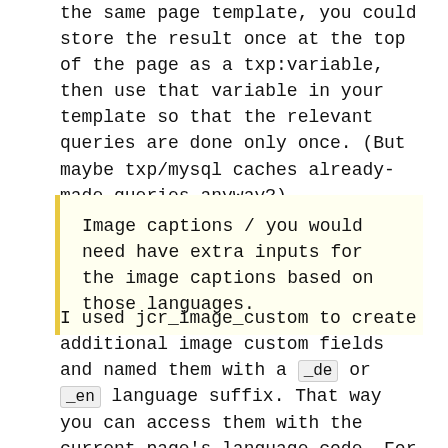the same page template, you could store the result once at the top of the page as a txp:variable, then use that variable in your template so that the relevant queries are done only once. (But maybe txp/mysql caches already-made queries anyway?)
Image captions / you would need have extra inputs for the image captions based on those languages.
I used jcr_image_custom to create additional image custom fields and named them with a _de or _en language suffix. That way you can access them with the current page's language code. For another user here, I slightly altered the plugin to do alternating text inputs and textareas. There's a